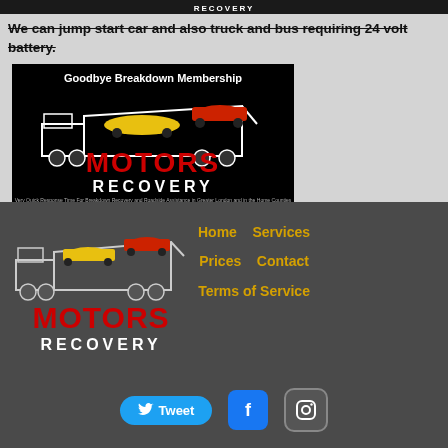MOTORS RECOVERY
We can jump start car and also truck and bus requiring 24 volt battery.
[Figure (logo): Motors Recovery advertisement with tow truck carrying yellow and red cars. Text: 'Goodbye Breakdown Membership' and 'MOTORS RECOVERY' in red and white. Subtitle: 'Very Quick Response Time For Breakdown Recovery and Roadside Assistance in Greater London and in the Home Counties'.]
[Figure (logo): Motors Recovery logo: tow truck with yellow and red cars, red 'MOTORS' and white 'RECOVERY' text.]
Home   Services
Prices   Contact
Terms of Service
[Figure (logo): Tweet button (Twitter/X), Facebook button, Instagram button]